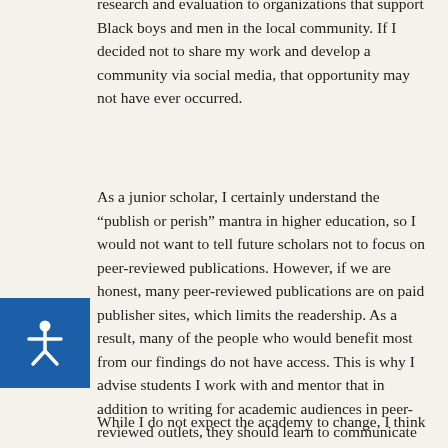research and evaluation to organizations that support Black boys and men in the local community. If I decided not to share my work and develop a community via social media, that opportunity may not have ever occurred.
As a junior scholar, I certainly understand the “publish or perish” mantra in higher education, so I would not want to tell future scholars not to focus on peer-reviewed publications. However, if we are honest, many peer-reviewed publications are on paid publisher sites, which limits the readership. As a result, many of the people who would benefit most from our findings do not have access. This is why I advise students I work with and mentor that in addition to writing for academic audiences in peer-reviewed outlets, they should learn to communicate important information either in writing or video to the audiences who can benefit from their commentary.
While I do not expect the academy to change, I think